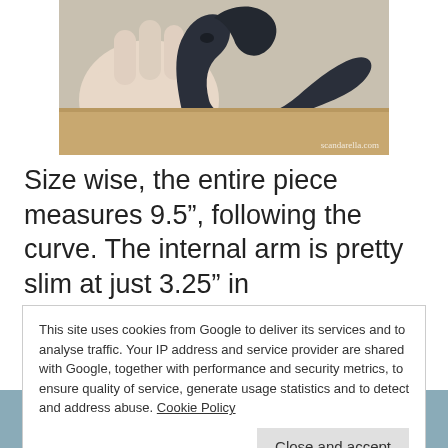[Figure (photo): Hand holding a black curved dual-stimulator device against a light background. Watermark reads scandarella.com]
Size wise, the entire piece measures 9.5”, following the curve. The internal arm is pretty slim at just 3.25” in circumference but it has a decent length of 5” (when straightened). Something I loved about the shaft immediately was that it has two flexible points.
This site uses cookies from Google to deliver its services and to analyse traffic. Your IP address and service provider are shared with Google, together with performance and security metrics, to ensure quality of service, generate usage statistics and to detect and address abuse. Cookie Policy
[Figure (photo): Partial photo visible at bottom of page, showing dark blue/teal device]